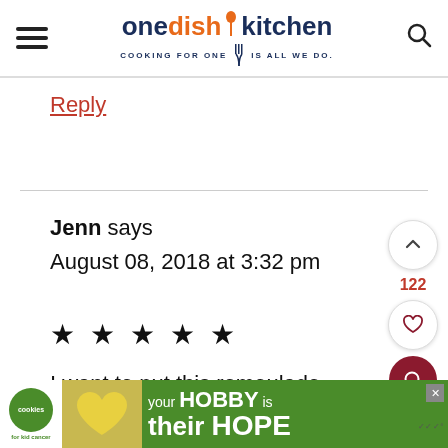one dish kitchen — COOKING FOR ONE | IS ALL WE DO.
Reply
Jenn says
August 08, 2018 at 3:32 pm
★★★★★
I want to put this remoulade on
[Figure (screenshot): Advertisement banner: Cookies for Kids Cancer — your HOBBY is their HOPE]